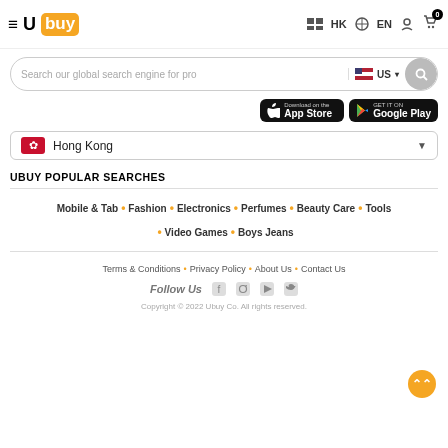Ubuy HK EN 0
Search our global search engine for pro US
[Figure (screenshot): Download on the App Store and GET IT ON Google Play buttons]
Hong Kong (dropdown)
UBUY POPULAR SEARCHES
Mobile & Tab • Fashion • Electronics • Perfumes • Beauty Care • Tools • Video Games • Boys Jeans
Terms & Conditions • Privacy Policy • About Us • Contact Us
Follow Us (Facebook, Instagram, YouTube, Twitter)
Copyright © 2022 Ubuy Co. All rights reserved.